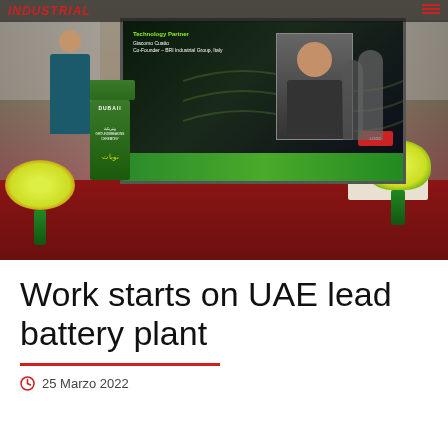[Figure (photo): A conference or ceremony event photo showing a presenter at a green DUBAII-branded lectern/podium speaking in front of a large projection screen. The screen displays a 'Technology Partner' slide with a man's photo (Giacomo Cuatto, Co-Founder - BRI Industrial Group, Italy), a green banner at the bottom, and what appears to be a logo. The event is held in a tent with white draped fabric ceiling and a dark red carpet. Yellow flowers are visible on the left foreground and right side on a table. Other attendees are visible in the background.]
Work starts on UAE lead battery plant
25 Marzo 2022